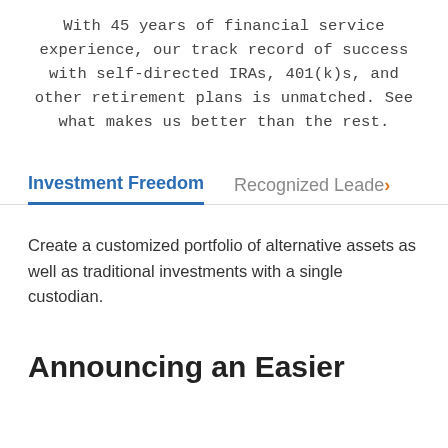With 45 years of financial service experience, our track record of success with self-directed IRAs, 401(k)s, and other retirement plans is unmatched. See what makes us better than the rest.
Investment Freedom
Recognized Leader
Create a customized portfolio of alternative assets as well as traditional investments with a single custodian.
Announcing an Easier